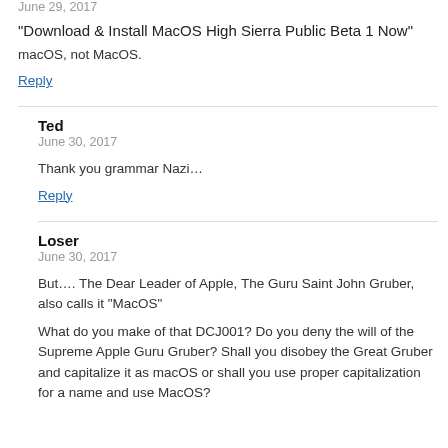June 29, 2017
“Download & Install MacOS High Sierra Public Beta 1 Now”
macOS, not MacOS.
Reply
Ted
June 30, 2017
Thank you grammar Nazi…
Reply
Loser
June 30, 2017
But…. The Dear Leader of Apple, The Guru Saint John Gruber, also calls it “MacOS”
What do you make of that DCJ001? Do you deny the will of the Supreme Apple Guru Gruber? Shall you disobey the Great Gruber and capitalize it as macOS or shall you use proper capitalization for a name and use MacOS?